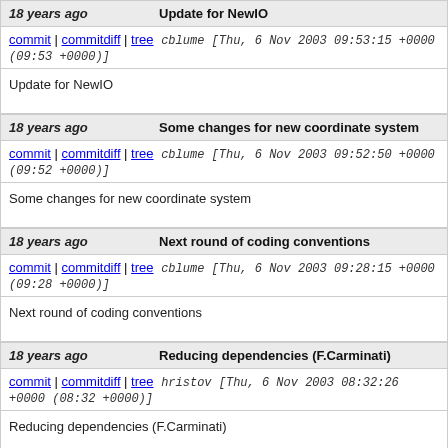18 years ago | Update for NewIO
commit | commitdiff | tree cblume [Thu, 6 Nov 2003 09:53:15 +0000 (09:53 +0000)]
Update for NewIO
18 years ago | Some changes for new coordinate system
commit | commitdiff | tree cblume [Thu, 6 Nov 2003 09:52:50 +0000 (09:52 +0000)]
Some changes for new coordinate system
18 years ago | Next round of coding conventions
commit | commitdiff | tree cblume [Thu, 6 Nov 2003 09:28:15 +0000 (09:28 +0000)]
Next round of coding conventions
18 years ago | Reducing dependencies (F.Carminati)
commit | commitdiff | tree hristov [Thu, 6 Nov 2003 08:32:26 +0000 (08:32 +0000)]
Reducing dependencies (F.Carminati)